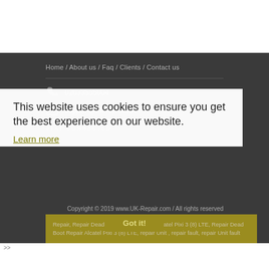Home / About us / Faq / Clients / Contact us
02033555004
support@uk-repair.com
STAY CONNECTED
This website uses cookies to ensure you get the best experience on our website.
Learn more
Copyright © 2019 www.UK-Repair.com / All rights reserved
Repair, Repair Dead Boot Repair,Repair Alcatel Pixi 3 (8) LTE, Repair Dead Boot Repair Alcatel Pixi 3 (8) LTE, repair Unit , repair fault, repair Unit fault
Got it!
>>